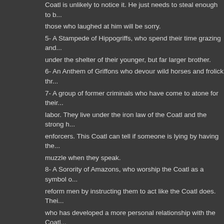Coatl is unlikely to notice it.  He just needs to steal enough to b... those who laughed at him will be sorry.
5- A Stampede of Hippogriffs, who spend their time grazing and... under the shelter of their younger, but far larger brother.
6- An Anthem of Griffons who devour wild horses and frolick thr...
7- A group of former criminals who have come to atone for their... labor.  They live under the iron law of the Coatl and the strong h... enforcers.  This Coatl can tell if someone is lying by having the... muzzle when they speak.
8- A Sorority of Amazons, who worship the Coatl as a symbol o... reform men by instructing them to act like the Coatl does.  Thei... who has developed a more personal relationship with the Coatl... wants to join with and bear the child of the Coatl, but she is not... possible.
What treasures does the Coatl have?
1d4
1- Coatl scales from the larger specimens contain a large amou... these metals are precious.  If you could collect some of these s... organic material and draw out the metal.  Even common iron ex... fetch a good price.  You wouldn't even have to kill a Coatl, just s... nest or burrow.  Just don't get caught.
2- Coatl Eggs are about the size of a humanoid curled up in the... like it is bejeweled and is worth its weight in diamonds...